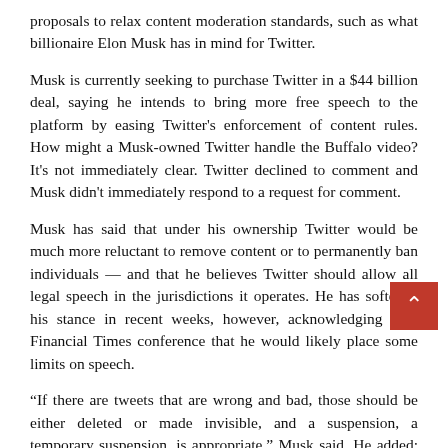proposals to relax content moderation standards, such as what billionaire Elon Musk has in mind for Twitter.
Musk is currently seeking to purchase Twitter in a $44 billion deal, saying he intends to bring more free speech to the platform by easing Twitter's enforcement of content rules. How might a Musk-owned Twitter handle the Buffalo video? It's not immediately clear. Twitter declined to comment and Musk didn't immediately respond to a request for comment.
Musk has said that under his ownership Twitter would be much more reluctant to remove content or to permanently ban individuals — and that he believes Twitter should allow all legal speech in the jurisdictions it operates. He has softened his stance in recent weeks, however, acknowledging at a Financial Times conference that he would likely place some limits on speech.
“If there are tweets that are wrong and bad, those should be either deleted or made invisible, and a suspension, a temporary suspension, is appropriate,” Musk said. He added: “If they say something that is illegal or otherwise